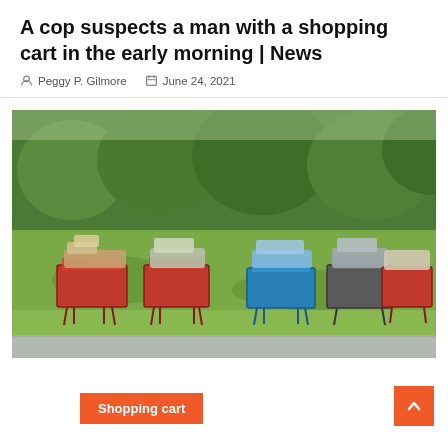A cop suspects a man with a shopping cart in the early morning | News
Peggy P. Gilmore   June 24, 2021
[Figure (photo): Several shopping carts loaded with belongings parked on a grassy roadside area with trees in the background. The carts include red Target-style carts and a blue cart, all filled with bags and miscellaneous items.]
Shopping cart